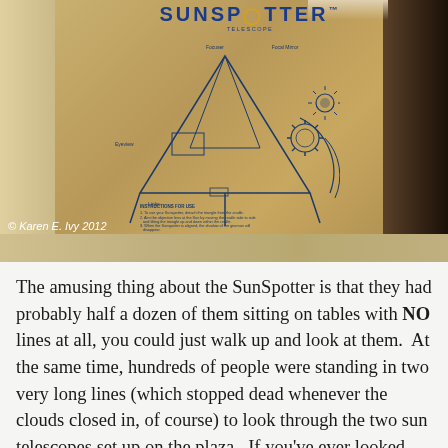[Figure (photo): Photograph of a SunSpotter telescope box/device showing the brand name 'SUNSPOTTER TELESCOPE' at top and a detailed instructional diagram of the device's components on the cardboard surface. The box is tan/brown colored with blue text and diagrams. Copyright Karen E. Ivy 2012 shown in lower left.]
The amusing thing about the SunSpotter is that they had probably half a dozen of them sitting on tables with NO lines at all, you could just walk up and look at them.  At the same time, hundreds of people were standing in two very long lines (which stopped dead whenever the clouds closed in, of course) to look through the two sun telescopes set up on the plaza.  If you've ever looked